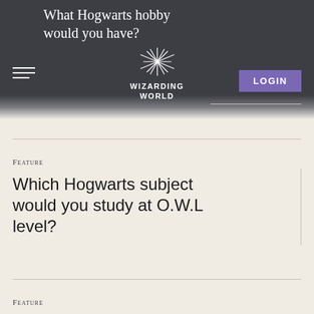What Hogwarts hobby would you have?
[Figure (logo): Wizarding World logo with starburst icon and text WIZARDING WORLD]
LOGIN
Feature
Which Hogwarts subject would you study at O.W.L level?
Feature
What magical object do you wish you owned?